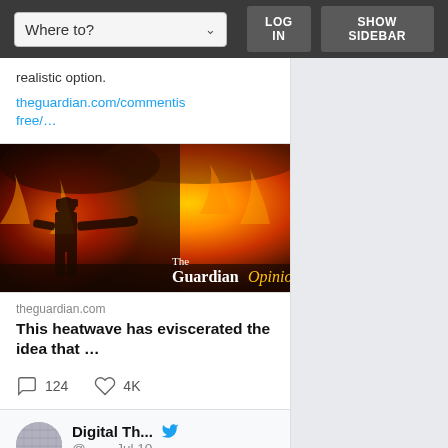Where to? | LOG IN | SHOW SIDEBAR
realistic option.
theguardian.com/commentisfree/…
[Figure (photo): Firefighter battling a wildfire with The Guardian Opinions branding overlay]
theguardian.com
This heatwave has eviscerated the idea that ...

○ 124  ♡ 4K
Digital Th... @... · Jul 10